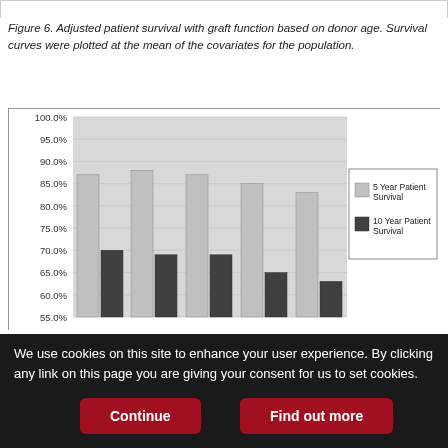Figure 6. Adjusted patient survival with graft function based on donor age. Survival curves were plotted at the mean of the covariates for the population.
[Figure (grouped-bar-chart): ]
We use cookies on this site to enhance your user experience. By clicking any link on this page you are giving your consent for us to set cookies.